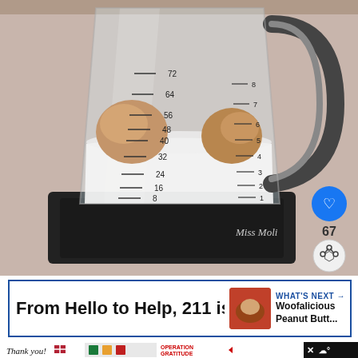[Figure (photo): A blender with clear glass pitcher containing milk and what appears to be peanut butter or similar ingredient, with measurement markings visible on the side (8, 16, 24, 32, 40, 48, 56, 64, 72 oz). A like button (heart icon, blue circle) and share button are overlaid on the right side with a count of 67 likes. A watermark reading 'Miss Moli' appears at the bottom right.]
From Hello to Help, 211 is H
WHAT'S NEXT → Woofalicious Peanut Butt...
[Figure (photo): Advertisement banner at bottom: 'Thank you!' handwritten text with American flag graphic on left, photo of healthcare workers with masks holding cards in center, Operation Gratitude logo on right. Dark background with X close button. Weather icon on far right.]